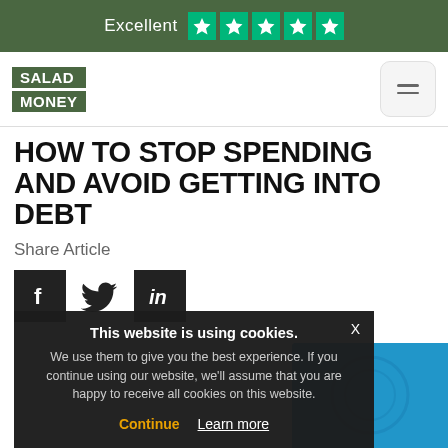Excellent ★★★★★
[Figure (logo): Salad Money logo — two green rectangular badges stacked, reading SALAD and MONEY in white bold text]
HOW TO STOP SPENDING AND AVOID GETTING INTO DEBT
Share Article
[Figure (infographic): Social share icons: Facebook (black square with f), Twitter (bird icon), LinkedIn (black square with in)]
This website is using cookies. We use them to give you the best experience. If you continue using our website, we'll assume that you are happy to receive all cookies on this website. Continue  Learn more